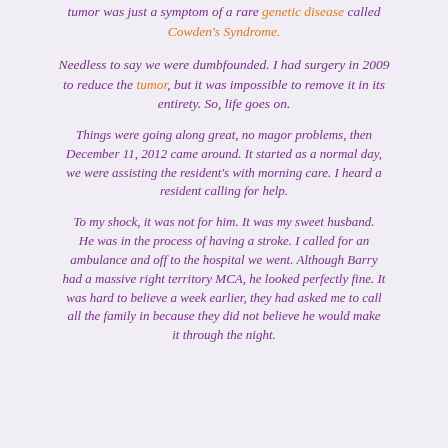tumor was just a symptom of a rare genetic disease called Cowden's Syndrome.
Needless to say we were dumbfounded. I had surgery in 2009 to reduce the tumor, but it was impossible to remove it in its entirety. So, life goes on.
Things were going along great, no magor problems, then December 11, 2012 came around. It started as a normal day, we were assisting the resident's with morning care. I heard a resident calling for help.
To my shock, it was not for him. It was my sweet husband. He was in the process of having a stroke. I called for an ambulance and off to the hospital we went. Although Barry had a massive right territory MCA, he looked perfectly fine. It was hard to believe a week earlier, they had asked me to call all the family in because they did not believe he would make it through the night.